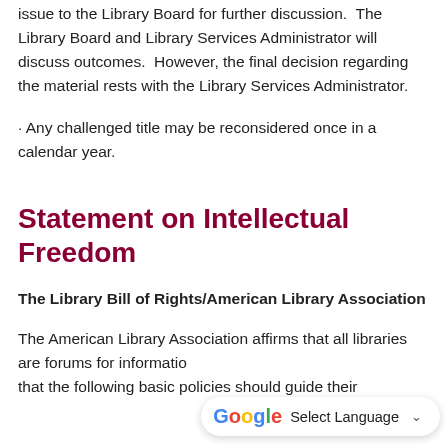issue to the Library Board for further discussion. The Library Board and Library Services Administrator will discuss outcomes. However, the final decision regarding the material rests with the Library Services Administrator.
· Any challenged title may be reconsidered once in a calendar year.
Statement on Intellectual Freedom
The Library Bill of Rights/American Library Association
The American Library Association affirms that all libraries are forums for information and ideas and that the following basic policies should guide their